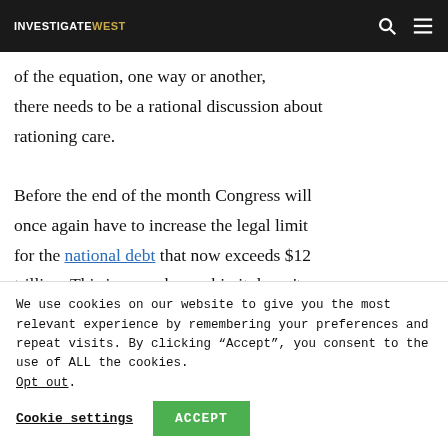INVESTIGATEWEST
of the equation, one way or another, there needs to be a rational discussion about rationing care.

Before the end of the month Congress will once again have to increase the legal limit for the national debt that now exceeds $12 trillion. This is a number so big it doesn't
We use cookies on our website to give you the most relevant experience by remembering your preferences and repeat visits. By clicking “Accept”, you consent to the use of ALL the cookies.
Opt out.
Cookie settings  ACCEPT